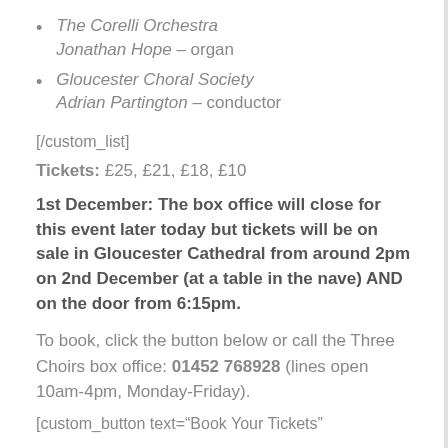The Corelli Orchestra Jonathan Hope – organ
Gloucester Choral Society Adrian Partington – conductor
[/custom_list]
Tickets: £25, £21, £18, £10
1st December: The box office will close for this event later today but tickets will be on sale in Gloucester Cathedral from around 2pm on 2nd December (at a table in the nave) AND on the door from 6:15pm.
To book, click the button below or call the Three Choirs box office: 01452 768928 (lines open 10am-4pm, Monday-Friday).
[custom_button text="Book Your Tickets"